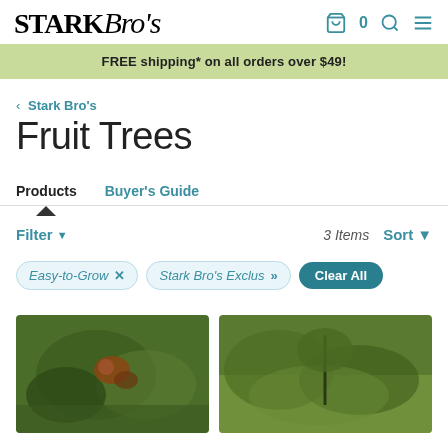Stark Bro's — FREE shipping* on all orders over $49!
< Stark Bro's
Fruit Trees
Products  Buyer's Guide
Filter ▼   3 Items   Sort ▼
Easy-to-Grow ×   Stark Bro's Exclus »   Clear All